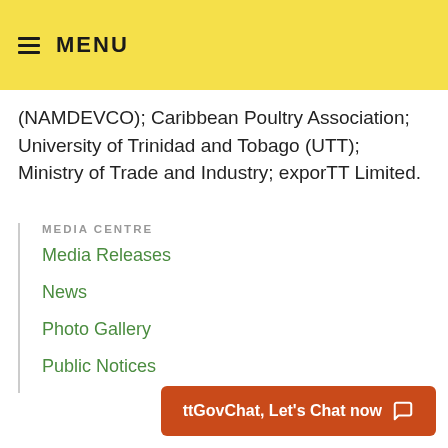MENU
(NAMDEVCO); Caribbean Poultry Association; University of Trinidad and Tobago (UTT); Ministry of Trade and Industry; exporTT Limited.
MEDIA CENTRE
Media Releases
News
Photo Gallery
Public Notices
ttGovChat, Let's Chat now